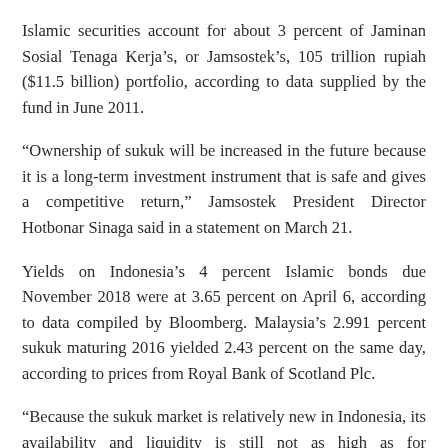Islamic securities account for about 3 percent of Jaminan Sosial Tenaga Kerja's, or Jamsostek's, 105 trillion rupiah ($11.5 billion) portfolio, according to data supplied by the fund in June 2011.
“Ownership of sukuk will be increased in the future because it is a long-term investment instrument that is safe and gives a competitive return,” Jamsostek President Director Hotbonar Sinaga said in a statement on March 21.
Yields on Indonesia’s 4 percent Islamic bonds due November 2018 were at 3.65 percent on April 6, according to data compiled by Bloomberg. Malaysia’s 2.991 percent sukuk maturing 2016 yielded 2.43 percent on the same day, according to prices from Royal Bank of Scotland Plc.
“Because the sukuk market is relatively new in Indonesia, its availability and liquidity is still not as high as for conventional bonds,” Angky Hendra, who helps oversee 11.2 trillion rupiah of